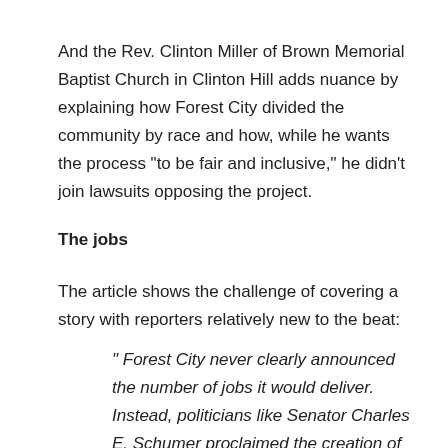And the Rev. Clinton Miller of Brown Memorial Baptist Church in Clinton Hill adds nuance by explaining how Forest City divided the community by race and how, while he wants the process "to be fair and inclusive," he didn't join lawsuits opposing the project.
The jobs
The article shows the challenge of covering a story with reporters relatively new to the beat:
" Forest City never clearly announced the number of jobs it would deliver. Instead, politicians like Senator Charles E. Schumer proclaimed the creation of 10,000 jobs in 2004 at the state of Brooklyn address."